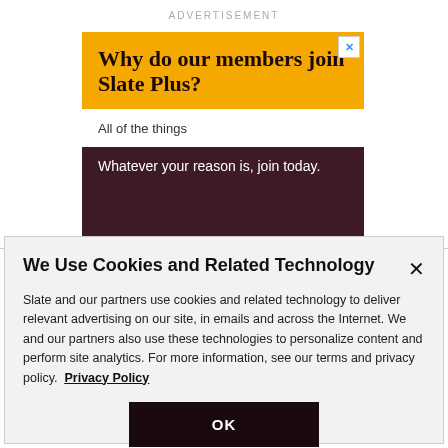ADVERTISEMENT
[Figure (infographic): Slate Plus advertisement banner with yellow and dark maroon background. Headline: 'Why do our members join Slate Plus?' with input field showing 'All of the things' and bottom text 'Whatever your reason is, join today.']
We Use Cookies and Related Technology
Slate and our partners use cookies and related technology to deliver relevant advertising on our site, in emails and across the Internet. We and our partners also use these technologies to personalize content and perform site analytics. For more information, see our terms and privacy policy.  Privacy Policy
OK